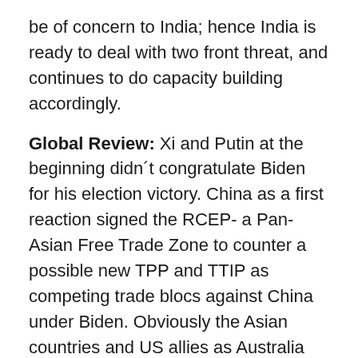be of concern to India; hence India is ready to deal with two front threat, and continues to do capacity building accordingly.
Global Review: Xi and Putin at the beginning didn´t congratulate Biden for his election victory. China as a first reaction signed the RCEP- a Pan-Asian Free Trade Zone to counter a possible new TPP and TTIP as competing trade blocs against China under Biden. Obviously the Asian countries and US allies as Australia also, but with the exception of India joined the RCEP? Do you think that the Asians don´t think that the USA is reliable anymore and that they don´t want to wait as a new TPP could also be cancelled if Trump or a similar Republican candidate would reappear as US president in 2024 and cancel the multilateral agreements? Has China achieved a strategic goal that the USA sustainably is perceived by the world